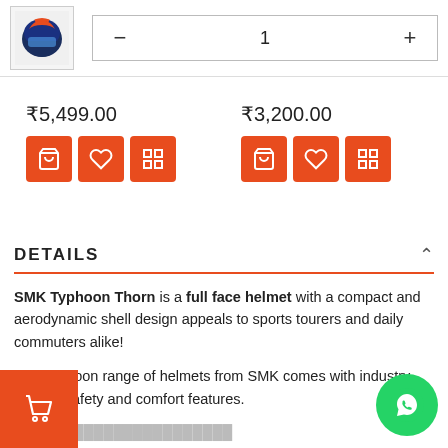[Figure (screenshot): Helmet product thumbnail with quantity control showing value 1 with minus and plus buttons]
₹5,499.00
[Figure (infographic): Three orange action buttons: add to cart, wishlist, compare - for left product]
₹3,200.00
[Figure (infographic): Three orange action buttons: add to cart, wishlist, compare - for right product]
DETAILS
SMK Typhoon Thorn is a full face helmet with a compact and aerodynamic shell design appeals to sports tourers and daily commuters alike!
The Typhoon range of helmets from SMK comes with industry-leading safety and comfort features.
[Figure (infographic): Orange cart FAB button at bottom left]
[Figure (infographic): Green WhatsApp FAB button at bottom right]